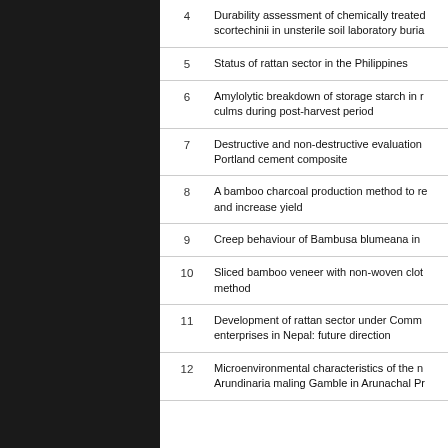| # | Title |
| --- | --- |
| 4 | Durability assessment of chemically treated scortechinii in unsterile soil laboratory buria |
| 5 | Status of rattan sector in the Philippines |
| 6 | Amylolytic breakdown of storage starch in r culms during post-harvest period |
| 7 | Destructive and non-destructive evaluation Portland cement composite |
| 8 | A bamboo charcoal production method to re and increase yield |
| 9 | Creep behaviour of Bambusa blumeana in |
| 10 | Sliced bamboo veneer with non-woven clot method |
| 11 | Development of rattan sector under Comm enterprises in Nepal: future direction |
| 12 | Microenvironmental characteristics of the n Arundinaria maling Gamble in Arunachal Pr |